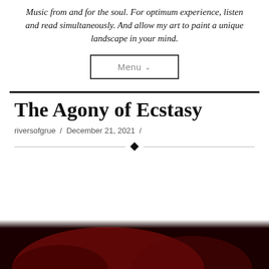Music from and for the soul. For optimum experience, listen and read simultaneously. And allow my art to paint a unique landscape in your mind.
[Figure (other): Menu navigation button with dropdown arrow]
The Agony of Ecstasy
riversofgrue / December 21, 2021 /
[Figure (other): Decorative horizontal divider with diamond shape in the center]
[Figure (photo): Dark photo with red tones, partially visible at the bottom of the page]